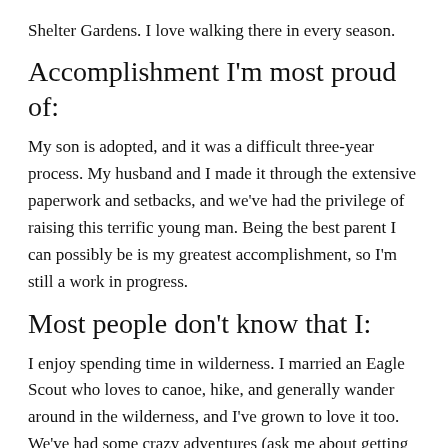Shelter Gardens. I love walking there in every season.
Accomplishment I'm most proud of:
My son is adopted, and it was a difficult three-year process. My husband and I made it through the extensive paperwork and setbacks, and we've had the privilege of raising this terrific young man. Being the best parent I can possibly be is my greatest accomplishment, so I'm still a work in progress.
Most people don't know that I:
I enjoy spending time in wilderness. I married an Eagle Scout who loves to canoe, hike, and generally wander around in the wilderness, and I've grown to love it too. We've had some crazy adventures (ask me about getting chased by a moose), but we've got some fun stories to